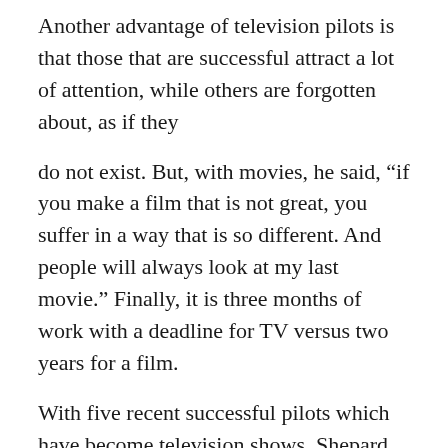Another advantage of television pilots is that those that are successful attract a lot of attention, while others are forgotten about, as if they
do not exist. But, with movies, he said, “if you make a film that is not great, you suffer in a way that is so different. And people will always look at my last movie.” Finally, it is three months of work with a deadline for TV versus two years for a film.
With five recent successful pilots which have become television shows, Shepard has a good track record, and this allowed him in September 2011 to launch a small production company called Olé with the producer brothers Sean and Bryan Furst, with whom he worked on “The Matador.” Olé has an exclusive two- year deal with CBS Television